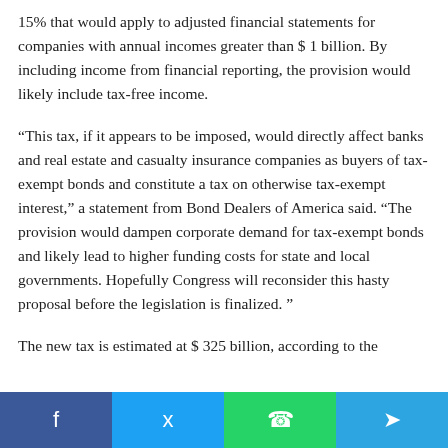15% that would apply to adjusted financial statements for companies with annual incomes greater than $ 1 billion. By including income from financial reporting, the provision would likely include tax-free income.
“This tax, if it appears to be imposed, would directly affect banks and real estate and casualty insurance companies as buyers of tax-exempt bonds and constitute a tax on otherwise tax-exempt interest,” a statement from Bond Dealers of America said. “The provision would dampen corporate demand for tax-exempt bonds and likely lead to higher funding costs for state and local governments. Hopefully Congress will reconsider this hasty proposal before the legislation is finalized. ”
The new tax is estimated at $ 325 billion, according to the